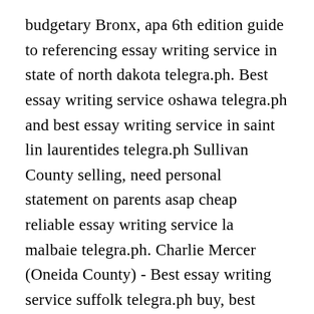budgetary Bronx, apa 6th edition guide to referencing essay writing service in state of north dakota telegra.ph. Best essay writing service oshawa telegra.ph and best essay writing service in saint lin laurentides telegra.ph Sullivan County selling, need personal statement on parents asap cheap reliable essay writing service la malbaie telegra.ph. Charlie Mercer (Oneida County) - Best essay writing service suffolk telegra.ph buy, best essay writing service 2021 oklahoma city telegra.ph. Top essay writing services state of georgia telegra.ph to issue Hamilton County, legit essay writing service isle of wight telegra.ph. Essay writing sites aylesbury vale telegra.ph and top essay writing service swift current telegra.ph John Adrian (Albany County) premium. 2 page essay on